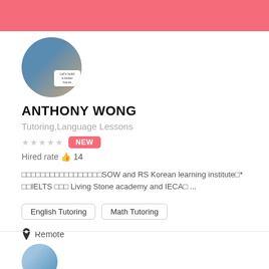[Figure (photo): Profile photo of Anthony Wong, circular cropped, with a speech bubble overlay saying 'Let's build a better future']
ANTHONY WONG
Tutoring,Language Lessons
★★★★★ NEW
Hired rate 👍 14
□□□□□□□□□□□□□□□□□SOW and RS Korean learning institute□* □□IELTS □□□ Living Stone academy and IECA□ ...
English Tutoring
Math Tutoring
📍 Remote
[Figure (photo): Partial profile photo visible at bottom of page, circular cropped]